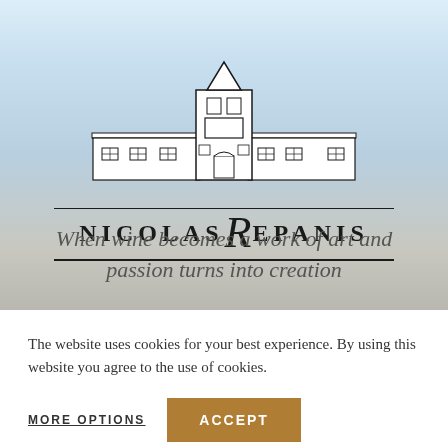[Figure (logo): Nicolas Repanis winery building logo — a line-drawing of a classical estate building with central two-storey tower and flanking single-storey wings with windows, topped by a triangular pediment]
NICOLAS REPANIS
When wine becomes a work of art and passion turns into creation
The website uses cookies for your best experience. By using this website you agree to the use of cookies.
MORE OPTIONS
ACCEPT